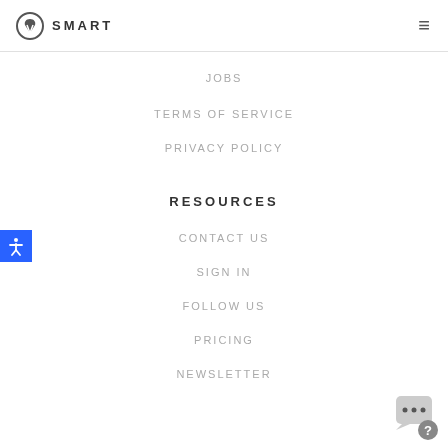SMART
JOBS
TERMS OF SERVICE
PRIVACY POLICY
RESOURCES
CONTACT US
SIGN IN
FOLLOW US
PRICING
NEWSLETTER
[Figure (illustration): Blue accessibility icon button with person figure in white]
[Figure (illustration): Chat/help widget in bottom right corner with ellipsis and question mark]